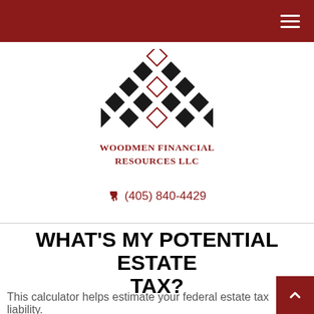Woodmen Financial Resources LLC — navigation header
[Figure (logo): Woodmen Financial Resources LLC logo — diamond/rhombus pattern forming a triangle shape in black and dark red, with company name below in dark red serif font]
(405) 840-4429
WHAT'S MY POTENTIAL ESTATE TAX?
This calculator helps estimate your federal estate tax liability.